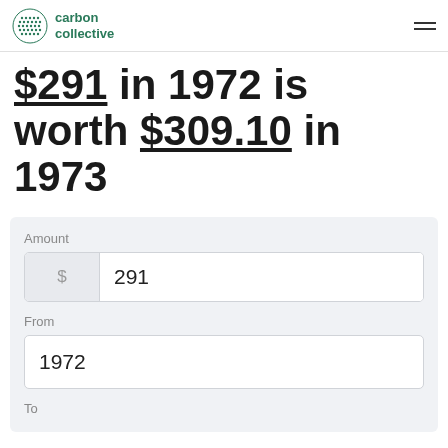carbon collective
$291 in 1972 is worth $309.10 in 1973
Amount
$ 291
From
1972
To